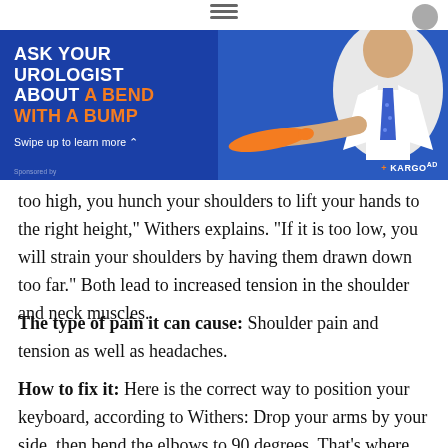[Figure (infographic): Advertisement banner with blue background. Text reads 'ASK YOUR UROLOGIST ABOUT A BEND WITH A BUMP' with 'A BEND WITH A BUMP' in orange. Subtitle says 'Swipe up to learn more'. Shows a doctor in white coat holding an orange carrot-shaped object. KARGO AD badge in bottom right.]
too high, you hunch your shoulders to lift your hands to the right height," Withers explains. "If it is too low, you will strain your shoulders by having them drawn down too far." Both lead to increased tension in the shoulder and neck muscles.
The type of pain it can cause: Shoulder pain and tension as well as headaches.
How to fix it: Here is the correct way to position your keyboard, according to Withers: Drop your arms by your side, then bend the elbows to 90 degrees. That's where your keyboard should sit.